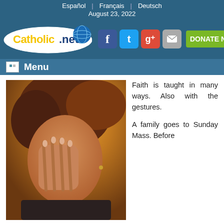Español | Français | Deutsch
August 23, 2022
[Figure (logo): Catholic.net logo with globe icon and social media icons (Facebook, Twitter, Google+, Mail) and DONATE NOW button]
Menu
[Figure (photo): Woman with auburn hair covering her eyes with her hand, appearing to be in prayer or contemplation, warm golden background lighting]
Faith is taught in many ways. Also with the gestures.

A family goes to Sunday Mass. Before entering the church, the parents speak in the usual voice. They come to the door, and enter in silence full of respect.
[X]